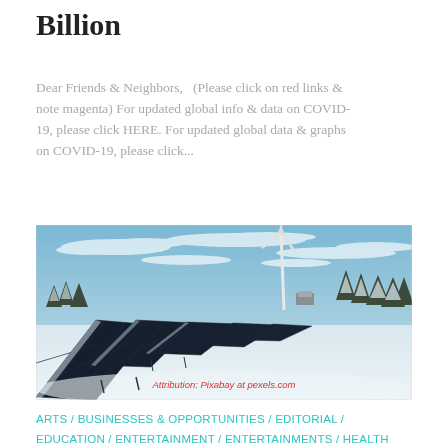Billion
Dear Friends & Neighbors,   (Please click on red links & note magenta) For updated global info & data on COVID-19, please click HERE. For updated global data & graphs on COVID-19, please click...
[Figure (photo): Solar panels covered in snow with a wind turbine in the background against a blue sky with scattered clouds, with trees visible in the background. Attribution: Pixabay at pexels.com]
ARTS / BUSINESSES & OPPORTUNITIES / EDITORIAL / EDUCATION / ENTERTAINMENT / ENTERTAINMENTS / HEALTH